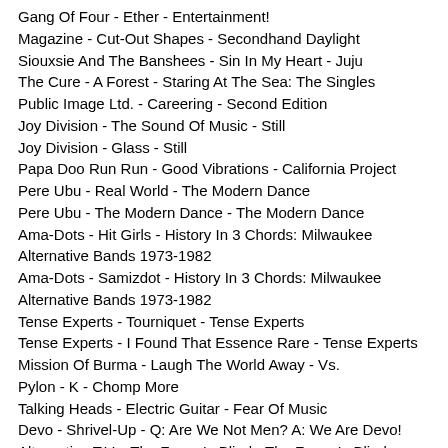Gang Of Four - Ether - Entertainment!
Magazine - Cut-Out Shapes - Secondhand Daylight
Siouxsie And The Banshees - Sin In My Heart - Juju
The Cure - A Forest - Staring At The Sea: The Singles
Public Image Ltd. - Careering - Second Edition
Joy Division - The Sound Of Music - Still
Joy Division - Glass - Still
Papa Doo Run Run - Good Vibrations - California Project
Pere Ubu - Real World - The Modern Dance
Pere Ubu - The Modern Dance - The Modern Dance
Ama-Dots - Hit Girls - History In 3 Chords: Milwaukee Alternative Bands 1973-1982
Ama-Dots - Samizdot - History In 3 Chords: Milwaukee Alternative Bands 1973-1982
Tense Experts - Tourniquet - Tense Experts
Tense Experts - I Found That Essence Rare - Tense Experts
Mission Of Burma - Laugh The World Away - Vs.
Pylon - K - Chomp More
Talking Heads - Electric Guitar - Fear Of Music
Devo - Shrivel-Up - Q: Are We Not Men? A: We Are Devo!
Alternative T.V. - The Force Is Blind - The Force Is Blind (Single)